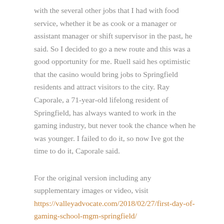with the several other jobs that I had with food service, whether it be as cook or a manager or assistant manager or shift supervisor in the past, he said. So I decided to go a new route and this was a good opportunity for me. Ruell said hes optimistic that the casino would bring jobs to Springfield residents and attract visitors to the city. Ray Caporale, a 71-year-old lifelong resident of Springfield, has always wanted to work in the gaming industry, but never took the chance when he was younger. I failed to do it, so now Ive got the time to do it, Caporale said.
For the original version including any supplementary images or video, visit https://valleyadvocate.com/2018/02/27/first-day-of-gaming-school-mgm-springfield/